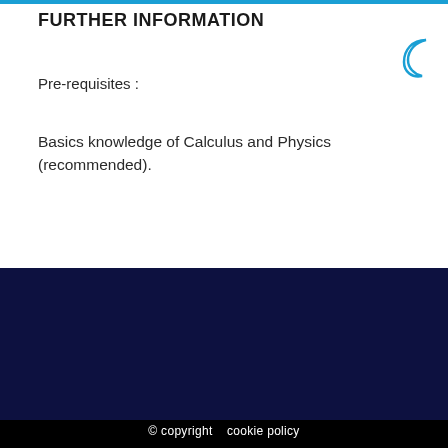FURTHER INFORMATION
Pre-requisites :
Basics knowledge of Calculus and Physics (recommended).
© copyright    cookie policy